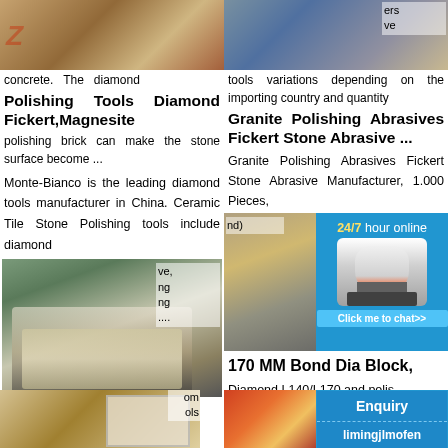[Figure (photo): Construction/stone processing site photo, top left, partially cropped]
Polishing Tools Diamond Fickert,Magnesite
concrete. The diamond polishing brick can make the stone surface become ...
Monte-Bianco is the leading diamond tools manufacturer in China. Ceramic Tile Stone Polishing tools include diamond
[Figure (photo): Mining machinery/crusher in quarry, mid left]
Diamond fickert diamond tools for Grinding Stone, View ...
Diamond fickert diamond tools for Grinding Stone, US $ 15 - 96.5 / Piece, Fujian, China,
[Figure (photo): Construction machinery photo, bottom left, partially cropped]
[Figure (photo): Industrial machinery photo, top right, partially cropped]
Granite Polishing Abrasives Fickert Stone Abrasive ...
tools variations depending on the importing country and quantity
Granite Polishing Abrasives Fickert Stone Abrasive Manufacturer, 1.000 Pieces,
[Figure (photo): Industrial equipment photo with 24/7 hour online chat overlay and cone crusher image]
170 MM Bond Dia Block,
Diamond L140/L170 and polis
[Figure (infographic): Blue overlay panel with Enquiry button and limingjlmofen username]
[Figure (photo): Industrial equipment, bottom right, partially cropped]